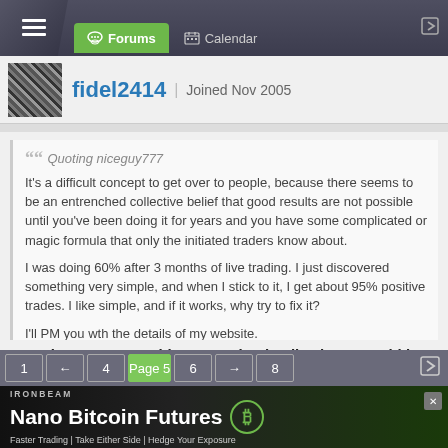Forums | Calendar
fidel2414 | Joined Nov 2005
Quoting niceguy777
It's a difficult concept to get over to people, because there seems to be an entrenched collective belief that good results are not possible until you've been doing it for years and you have some complicated or magic formula that only the initiated traders know about.

I was doing 60% after 3 months of live trading. I just discovered something very simple, and when I stick to it, I get about 95% positive trades. I like simple, and if it works, why try to fix it?

I'll PM you wth the details of my website.
Hey niceguy777, could you PM the details also. I would love to check out your system.
1 ← 4 Page 5 6 → 8
[Figure (screenshot): IRONBEAM advertisement: Nano Bitcoin Futures - Faster Trading | Take Either Side | Hedge Your Exposure]